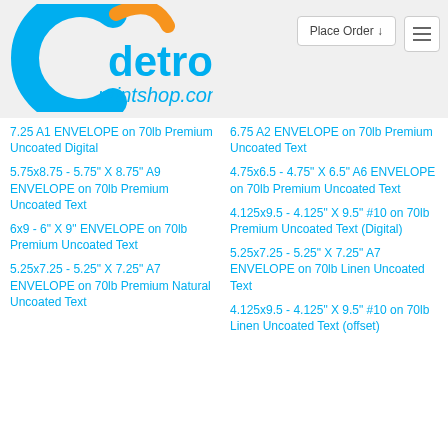[Figure (logo): Detroit Printshop logo with blue C-shape and orange swoosh, text 'detroit printshop.com' in blue]
7.25 A1 ENVELOPE on 70lb Premium Uncoated Digital
6.75 A2 ENVELOPE on 70lb Premium Uncoated Text
5.75x8.75 - 5.75" X 8.75" A9 ENVELOPE on 70lb Premium Uncoated Text
4.75x6.5 - 4.75" X 6.5" A6 ENVELOPE on 70lb Premium Uncoated Text
6x9 - 6" X 9" ENVELOPE on 70lb Premium Uncoated Text
4.125x9.5 - 4.125" X 9.5" #10 on 70lb Premium Uncoated Text (Digital)
5.25x7.25 - 5.25" X 7.25" A7 ENVELOPE on 70lb Premium Natural Uncoated Text
5.25x7.25 - 5.25" X 7.25" A7 ENVELOPE on 70lb Linen Uncoated Text
4.125x9.5 - 4.125" X 9.5" #10 on 70lb Linen Uncoated Text (offset)